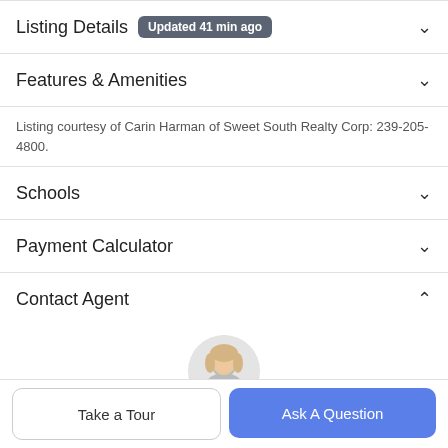Listing Details Updated 41 min ago
Features & Amenities
Listing courtesy of Carin Harman of Sweet South Realty Corp: 239-205-4800.
Schools
Payment Calculator
Contact Agent
[Figure (photo): Agent photo, circular crop, woman with blonde hair]
Take a Tour
Ask A Question